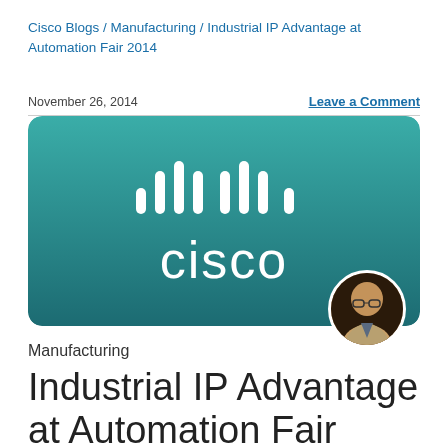Cisco Blogs / Manufacturing / Industrial IP Advantage at Automation Fair 2014
November 26, 2014
Leave a Comment
[Figure (logo): Cisco logo on teal-to-dark-teal gradient background with rounded corners, featuring the Cisco bridge bars icon and CISCO wordmark in white. A circular author portrait photo overlaps the lower-right corner.]
Manufacturing
Industrial IP Advantage at Automation Fair